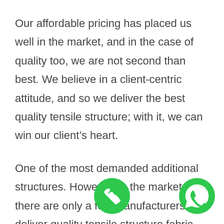Our affordable pricing has placed us well in the market, and in the case of quality too, we are not second than best. We believe in a client-centric attitude, and so we deliver the best quality tensile structure; with it, we can win our client's heart.
One of the most demanded additional structures. However, in the market, there are only a few manufacturers who deliver quality tensile structure fabric, and we are one of that.
We have always worked on the client's preference and specification, and so we are
[Figure (illustration): Green circular phone call icon button at bottom center of page]
[Figure (illustration): Green circular WhatsApp icon button at bottom right of page]